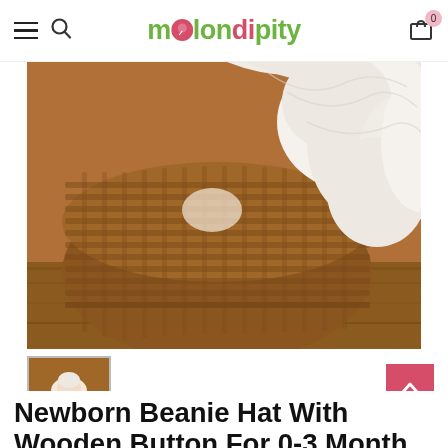melondipity
[Figure (photo): Newborn baby sleeping in a wicker basket with white ruffled fabric/cloth draping out of the top right, photographed on a wooden surface. Product photo for a baby beanie hat.]
[Figure (photo): Small thumbnail of the same newborn baby in basket product photo.]
Newborn Beanie Hat With Wooden Button For 0-3 Month Baby Girl, Pink And Beige, 100% Breathable Cotton fo